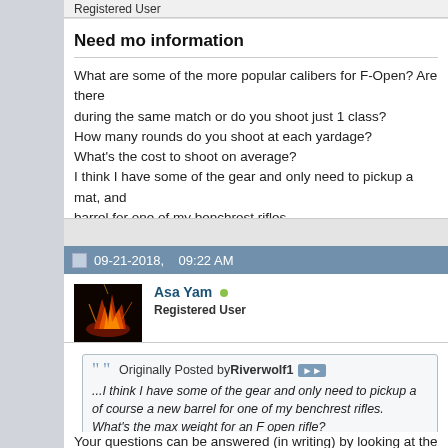Registered User
Need mo information
What are some of the more popular calibers for F-Open? Are there during the same match or do you shoot just 1 class?
How many rounds do you shoot at each yardage?
What's the cost to shoot on average?
I think I have some of the gear and only need to pickup a mat, and barrel for one of my benchrest rifles.
What's the max weight for an F open rifle?
09-21-2018,    09:22 AM
Asa Yam
Registered User
Originally Posted by Riverwolf1
...I think I have some of the gear and only need to pickup a of course a new barrel for one of my benchrest rifles.
What's the max weight for an F open rifle?
Your questions can be answered (in writing) by looking at the NRA